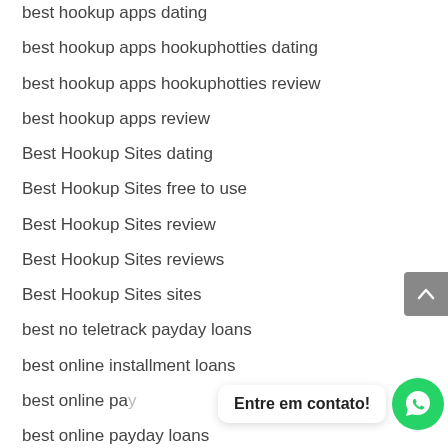best hookup apps dating
best hookup apps hookuphotties dating
best hookup apps hookuphotties review
best hookup apps review
Best Hookup Sites dating
Best Hookup Sites free to use
Best Hookup Sites review
Best Hookup Sites reviews
Best Hookup Sites sites
best no teletrack payday loans
best online installment loans
best online pa…
best online payday loans